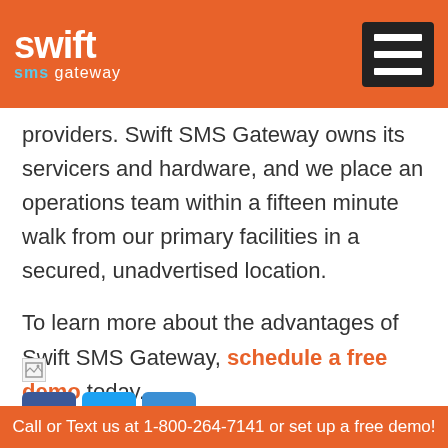[Figure (logo): Swift SMS Gateway logo with orange arrow icon and blue 'sms' text, white 'swift' and 'gateway' text on orange background]
providers. Swift SMS Gateway owns its servicers and hardware, and we place an operations team within a fifteen minute walk from our primary facilities in a secured, unadvertised location.
To learn more about the advantages of Swift SMS Gateway, schedule a free demo today.
[Figure (illustration): Broken image placeholder icon]
[Figure (infographic): Social media buttons: Facebook, Twitter, and a plus/share button]
Call or Text us at 1-800-264-7141 or set up a free demo!